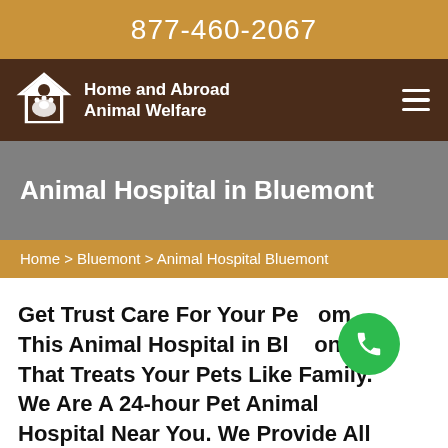877-460-2067
[Figure (logo): Home and Abroad Animal Welfare logo with house and animal paw icons in white, on dark brown nav bar]
Animal Hospital in Bluemont
Home > Bluemont > Animal Hospital Bluemont
Get Trust Care For Your Pet From This Animal Hospital in Bluemont That Treats Your Pets Like Family. We Are A 24-hour Pet Animal Hospital Near You. We Provide All